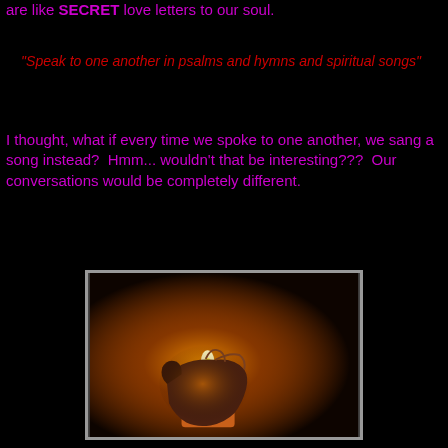are like SECRET love letters to our soul.
"Speak to one another in psalms and hymns and spiritual songs"
I thought, what if every time we spoke to one another, we sang a song instead?  Hmm... wouldn't that be interesting???  Our conversations would be completely different.
[Figure (photo): A hand cupping a lit candle in darkness, warm orange glow illuminating the hand from below against a dark background.]